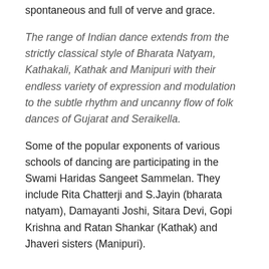spontaneous and full of verve and grace.
The range of Indian dance extends from the strictly classical style of Bharata Natyam, Kathakali, Kathak and Manipuri with their endless variety of expression and modulation to the subtle rhythm and uncanny flow of folk dances of Gujarat and Seraikella.
Some of the popular exponents of various schools of dancing are participating in the Swami Haridas Sangeet Sammelan. They include Rita Chatterji and S.Jayin (bharata natyam), Damayanti Joshi, Sitara Devi, Gopi Krishna and Ratan Shankar (Kathak) and Jhaveri sisters (Manipuri).